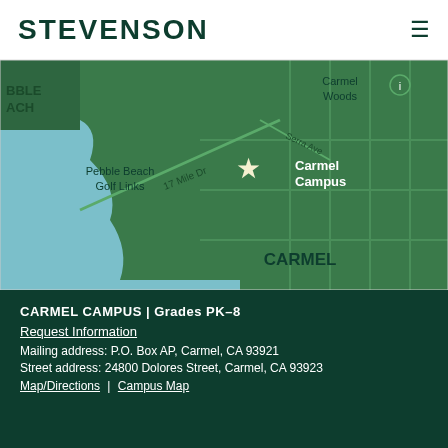STEVENSON
[Figure (map): Map showing Stevenson School Carmel Campus location near Pebble Beach Golf Links, 17 Mile Dr, Serra Ave, and Carmel Woods. A star marker labels 'Carmel Campus'. Map shows land in green, ocean/water in light teal. 'CARMEL' label appears at bottom of map.]
CARMEL CAMPUS | Grades PK–8
Request Information
Mailing address: P.O. Box AP, Carmel, CA 93921
Street address: 24800 Dolores Street, Carmel, CA 93923
Map/Directions | Campus Map